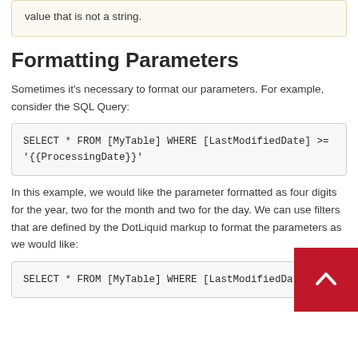value that is not a string.
Formatting Parameters
Sometimes it's necessary to format our parameters. For example, consider the SQL Query:
SELECT * FROM [MyTable] WHERE [LastModifiedDate] >= '{{ProcessingDate}}'
In this example, we would like the parameter formatted as four digits for the year, two for the month and two for the day. We can use filters that are defined by the DotLiquid markup to format the parameters as we would like:
SELECT * FROM [MyTable] WHERE [LastModifiedDa